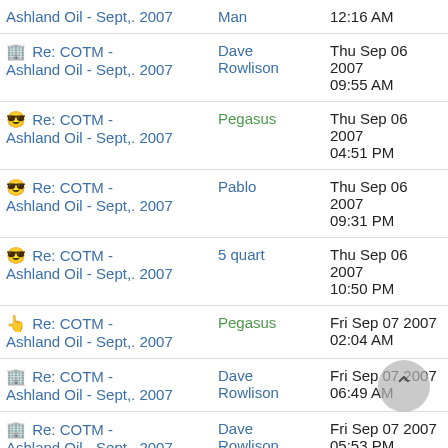| Subject | Author | Date |
| --- | --- | --- |
| Re: COTM - Ashland Oil - Sept,. 2007 | Man | 12:16 AM |
| 🏢 Re: COTM - Ashland Oil - Sept,. 2007 | Dave Rowlison | Thu Sep 06 2007 09:55 AM |
| 😎 Re: COTM - Ashland Oil - Sept,. 2007 | Pegasus | Thu Sep 06 2007 04:51 PM |
| 😎 Re: COTM - Ashland Oil - Sept,. 2007 | Pablo | Thu Sep 06 2007 09:31 PM |
| 😎 Re: COTM - Ashland Oil - Sept,. 2007 | 5 quart | Thu Sep 06 2007 10:50 PM |
| 👆 Re: COTM - Ashland Oil - Sept,. 2007 | Pegasus | Fri Sep 07 2007 02:04 AM |
| 🏢 Re: COTM - Ashland Oil - Sept,. 2007 | Dave Rowlison | Fri Sep 07 2007 06:49 AM |
| 🏢 Re: COTM - Ashland Oil - Sept,. 2007 | Dave Rowlison | Fri Sep 07 2007 05:53 PM |
| 🏢 Re: COTM - Ashland Oil - Sept,. 2007 | Dave Rowlison | Fri Sep 07 2007 06:01 PM |
| 😎 Re: COTM - | Pegasus | Fri Sep 07 2007 |